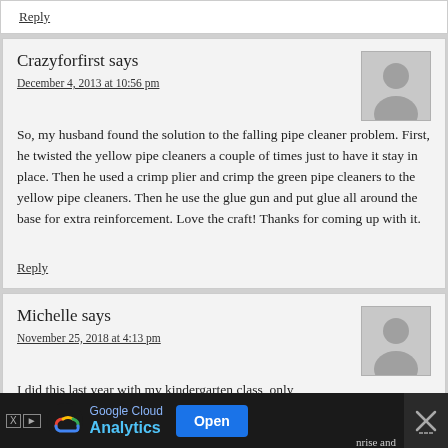Reply
Crazyforfirst says
December 4, 2013 at 10:56 pm
So, my husband found the solution to the falling pipe cleaner problem. First, he twisted the yellow pipe cleaners a couple of times just to have it stay in place. Then he used a crimp plier and crimp the green pipe cleaners to the yellow pipe cleaners. Then he use the glue gun and put glue all around the base for extra reinforcement. Love the craft! Thanks for coming up with it.
Reply
Michelle says
November 25, 2018 at 4:13 pm
I did this last year with my kindergarten class, only
[Figure (infographic): Google Cloud Analytics advertisement banner at bottom of page with logo, Open button, and close X button]